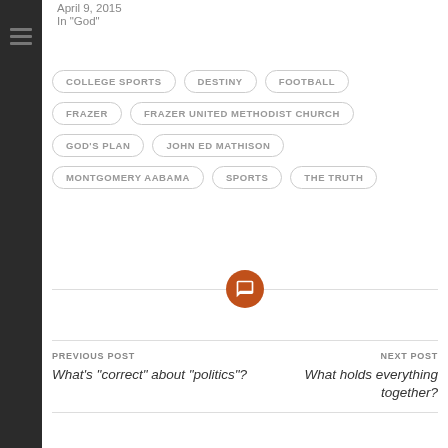April 9, 2015
In "God"
COLLEGE SPORTS
DESTINY
FOOTBALL
FRAZER
FRAZER UNITED METHODIST CHURCH
GOD'S PLAN
JOHN ED MATHISON
MONTGOMERY AABAMA
SPORTS
THE TRUTH
[Figure (illustration): Orange circular comment/chat icon with speech bubble symbol]
PREVIOUS POST
What’s “correct” about “politics”?
NEXT POST
What holds everything together?